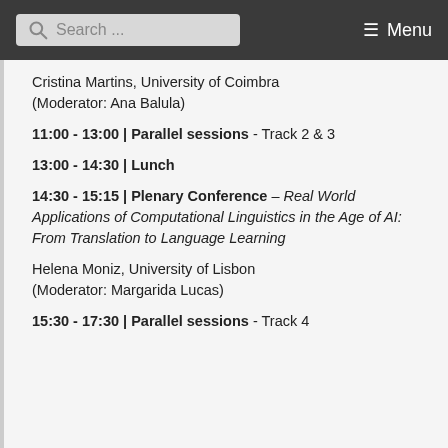Search ... Menu
Cristina Martins, University of Coimbra
(Moderator: Ana Balula)
11:00 - 13:00 | Parallel sessions - Track 2 & 3
13:00 - 14:30 | Lunch
14:30 - 15:15 | Plenary Conference – Real World Applications of Computational Linguistics in the Age of AI: From Translation to Language Learning
Helena Moniz, University of Lisbon
(Moderator: Margarida Lucas)
15:30 - 17:30 | Parallel sessions - Track 4